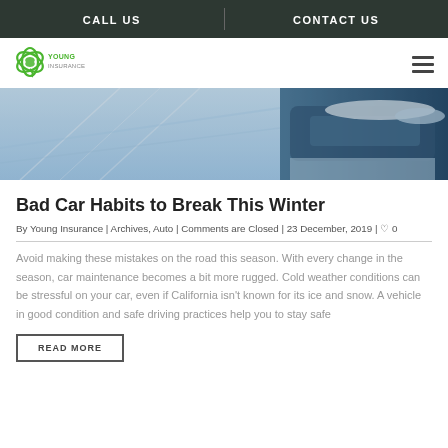CALL US | CONTACT US
[Figure (logo): Young Insurance company logo with green leaf/atom symbol]
[Figure (photo): Winter driving hero image showing snowy road and ice-covered car]
Bad Car Habits to Break This Winter
By Young Insurance | Archives, Auto | Comments are Closed | 23 December, 2019 | ♡ 0
Avoid making these mistakes on the road this season. With every change in the season, car maintenance becomes a bit more rugged. Cold weather conditions can be stressful on your car, even if California isn't known for its ice and snow. A vehicle in good condition and safe driving practices help you to stay safe